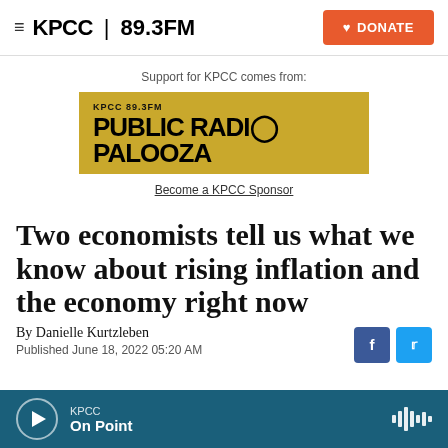KPCC 89.3FM — DONATE
Support for KPCC comes from:
[Figure (logo): KPCC 89.3FM Public Radio Palooza banner advertisement in yellow/gold color]
Become a KPCC Sponsor
Two economists tell us what we know about rising inflation and the economy right now
By Danielle Kurtzleben
Published June 18, 2022 05:20 AM
KPCC On Point (audio player bar)